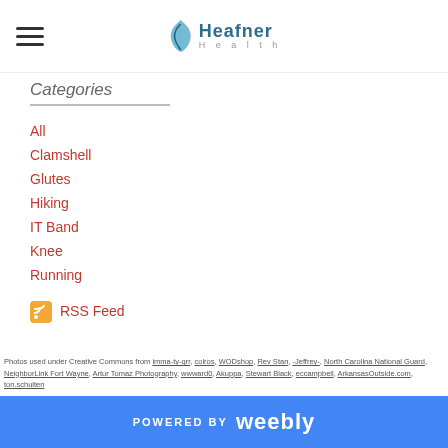Heafner Health
Categories
All
Clamshell
Glutes
Hiking
IT Band
Knee
Running
RSS Feed
Photos used under Creative Commons from imma-ty-grr, colros, WODshop, Rev Stan, -Jeffrey-, North Carolina National Guard, NeighborLink Fort Wayne, Artur Tomaz Photography, wwward0, Akuppa, Stewart Black, eccampbell, ArkansasOutside.com, ton.schulten
POWERED BY weebly